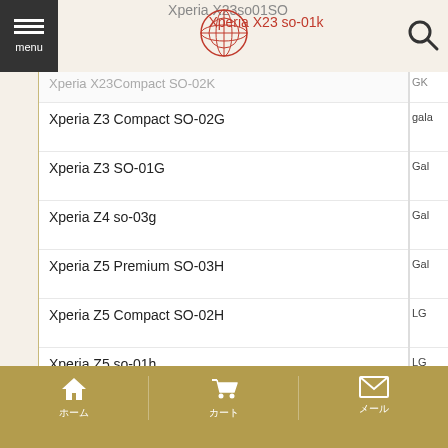Xperia X23 so-01k
Xperia Z3 Compact SO-02G
Xperia Z3 SO-01G
Xperia Z4 so-03g
Xperia Z5 Premium SO-03H
Xperia Z5 Compact SO-02H
Xperia Z5 so-01h
Galaxy Note9 SC-01L
galaxy s9 SC-02K
galaxy s9+ SC-03K
Galaxy note 9
Galaxy S6 edge+
Galaxy S7 edge docomo SC-02H
Galaxy Active neo SC-01H
Galaxy S6 Edge SC-04G
Galaxy S8 SC-02J
HOME / CART / MAIL